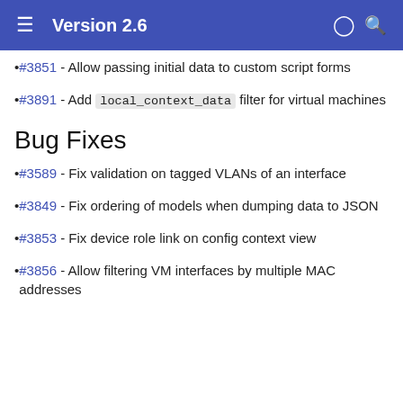Version 2.6
#3851 - Allow passing initial data to custom script forms
#3891 - Add local_context_data filter for virtual machines
Bug Fixes
#3589 - Fix validation on tagged VLANs of an interface
#3849 - Fix ordering of models when dumping data to JSON
#3853 - Fix device role link on config context view
#3856 - Allow filtering VM interfaces by multiple MAC addresses